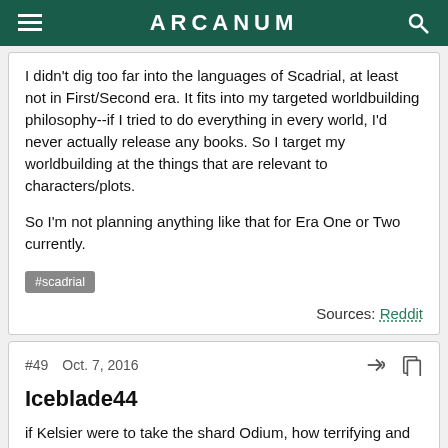ARCANUM
I didn't dig too far into the languages of Scadrial, at least not in First/Second era. It fits into my targeted worldbuilding philosophy--if I tried to do everything in every world, I'd never actually release any books. So I target my worldbuilding at the things that are relevant to characters/plots.
So I'm not planning anything like that for Era One or Two currently.
#scadrial
Sources: Reddit
#49   Oct. 7, 2016
Iceblade44
if Kelsier were to take the shard Odium, how terrifying and dangerous would he be?
Brandon Sanderson
I could see Kelsier being very dangerous with Odium. His hatred